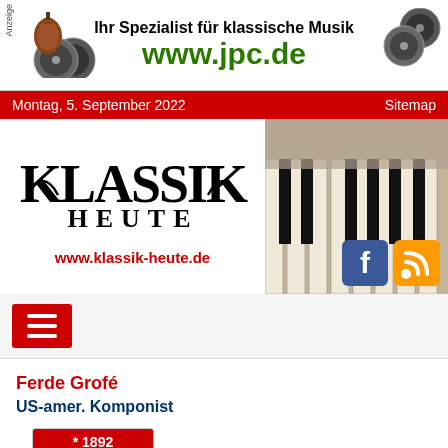[Figure (other): Advertisement banner for jpc.de - Ihr Spezialist für klassische Musik with violin and CDs imagery, green URL www.jpc.de]
Montag, 5. September 2022   Sitemap
[Figure (logo): Klassik Heute logo with piano keys background, www.klassik-heute.de, social media icons (Facebook, RSS)]
[Figure (other): Hamburger menu button (three horizontal lines) on red background]
Ferde Grofé
US-amer. Komponist
[Figure (other): Calendar widget showing * 1892 at top in red, and the number 27 in large red digits below on white background]